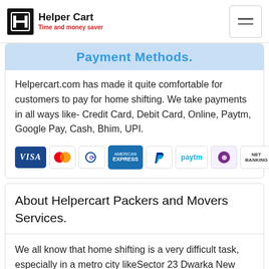Helper Cart — Time and money saver
Payment Methods.
Helpercart.com has made it quite comfortable for customers to pay for home shifting. We take payments in all ways like- Credit Card, Debit Card, Online, Paytm, Google Pay, Cash, Bhim, UPI.
[Figure (infographic): Row of payment method icons: Visa, Mastercard, Diners Club, American Express, PayPal, Paytm, BHIM, Net Banking]
About Helpercart Packers and Movers Services.
We all know that home shifting is a very difficult task, especially in a metro city likeSector 23 Dwarka New Delhi is a great starting the city...